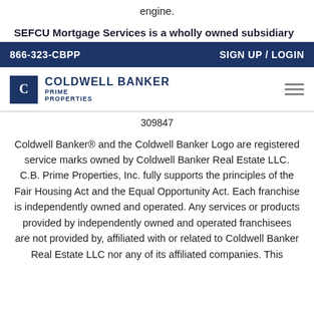engine.
SEFCU Mortgage Services is a wholly owned subsidiary
866-323-CBPP | SIGN UP / LOGIN
[Figure (logo): Coldwell Banker Prime Properties logo with hamburger menu icon]
309847
Coldwell Banker® and the Coldwell Banker Logo are registered service marks owned by Coldwell Banker Real Estate LLC. C.B. Prime Properties, Inc. fully supports the principles of the Fair Housing Act and the Equal Opportunity Act. Each franchise is independently owned and operated. Any services or products provided by independently owned and operated franchisees are not provided by, affiliated with or related to Coldwell Banker Real Estate LLC nor any of its affiliated companies. This